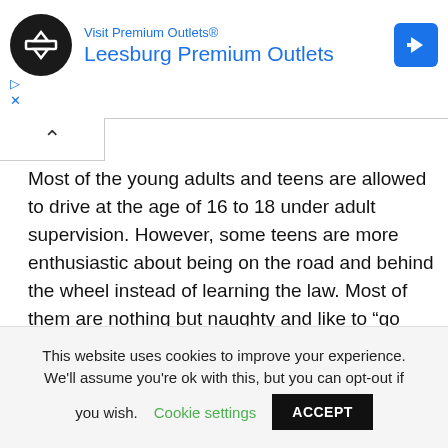[Figure (screenshot): Advertisement banner for Leesburg Premium Outlets with circular black logo, blue text, and blue navigation arrow icon]
Most of the young adults and teens are allowed to drive at the age of 16 to 18 under adult supervision. However, some teens are more enthusiastic about being on the road and behind the wheel instead of learning the law. Most of them are nothing but naughty and like to “go against the wind”.
Passengers
This website uses cookies to improve your experience. We’ll assume you’re ok with this, but you can opt-out if you wish. Cookie settings ACCEPT